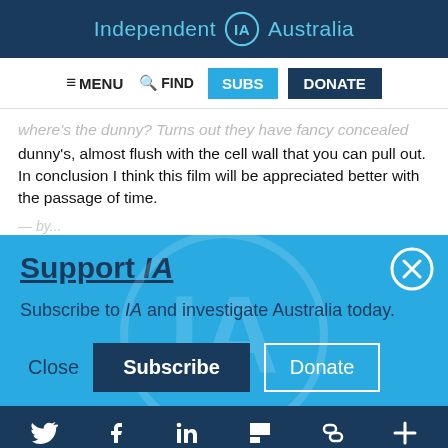Independent IA Australia
≡ MENU   🔍 FIND   SUBS   DONATE
where's the dunny? Turns out they have fancy concealed dunny's, almost flush with the cell wall that you can pull out. In conclusion I think this film will be appreciated better with the passage of time.
Support IA
Subscribe to IA and investigate Australia today.
Close   Subscribe   Donate
Twitter  Facebook  LinkedIn  Flipboard  Link  More